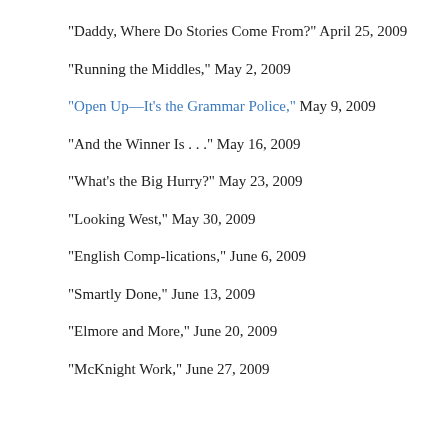"Daddy, Where Do Stories Come From?" April 25, 2009
"Running the Middles," May 2, 2009
"Open Up—It's the Grammar Police," May 9, 2009
"And the Winner Is . . ." May 16, 2009
"What's the Big Hurry?" May 23, 2009
"Looking West," May 30, 2009
"English Comp-lications," June 6, 2009
"Smartly Done," June 13, 2009
"Elmore and More," June 20, 2009
"McKnight Work," June 27, 2009